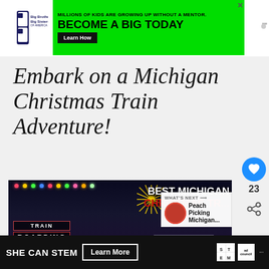[Figure (screenshot): Big Brothers Big Sisters advertisement banner with green background. Text: MILLIONS OF KIDS ARE GROWING UP WITHOUT A MENTOR. BECOME A BIG TODAY. Learn How button.]
Embark on a Michigan Christmas Train Adventure!
[Figure (photo): Night photo of a train boarding entrance with Christmas lights and fireworks. Text overlay: BEST MICHIGAN CHRISTMAS TRAIN. Thumbnail of Peach Picking Michigan article in What's Next overlay.]
[Figure (screenshot): Bottom advertisement banner: SHE CAN STEM Learn More. STEM and Ad Council logos.]